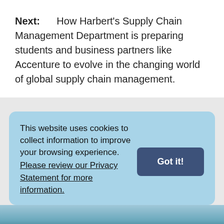Next:    How Harbert's Supply Chain Management Department is preparing students and business partners like Accenture to evolve in the changing world of global supply chain management.
This website uses cookies to collect information to improve your browsing experience. Please review our Privacy Statement for more information.
Got it!
[Figure (photo): Bottom strip showing a waterfront or ocean photo, partially visible]